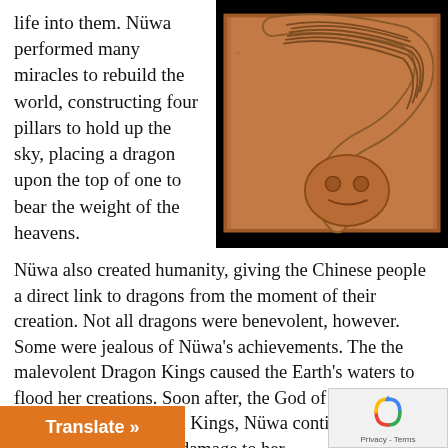life into them. Nüwa performed many miracles to rebuild the world, constructing four pillars to hold up the sky, placing a dragon upon the top of one to bear the weight of the heavens.
[Figure (photo): A terracotta or clay relief carving depicting a dragon with flowing ridged tail/body coiled against a decorative framed background, displayed against a black background.]
Nüwa also created humanity, giving the Chinese people a direct link to dragons from the moment of their creation. Not all dragons were benevolent, however. Some were jealous of Nüwa's achievements. The the malevolent Dragon Kings caused the Earth's waters to flood her creations. Soon after, the God of Fire vanquished the Dragon Kings, Nüwa continued to repair the damage to her Earth to repair the damage to her